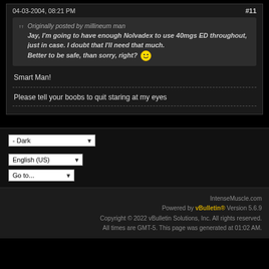04-03-2004, 08:21 PM  #11
Originally posted by millineum man
Jay, I'm going to have enough Nolvadex to use 40mgs ED throughout, just in case. I doubt that I'll need that much.
Better to be safe, than sorry, right?
Smart Man!
Please tell your boobs to quit staring at my eyes
IntenseMuscle.com
Powered by vBulletin® Version 5.6.9
Copyright © 2022 vBulletin Solutions, Inc. All rights reserved.
All times are GMT-5. This page was generated at 01:02 AM.